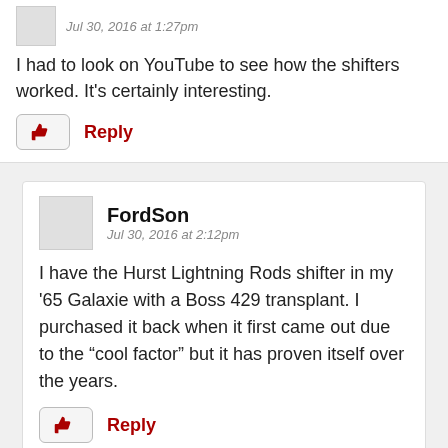Jul 30, 2016 at 1:27pm
I had to look on YouTube to see how the shifters worked. It's certainly interesting.
FordSon
Jul 30, 2016 at 2:12pm
I have the Hurst Lightning Rods shifter in my '65 Galaxie with a Boss 429 transplant. I purchased it back when it first came out due to the “cool factor” but it has proven itself over the years.